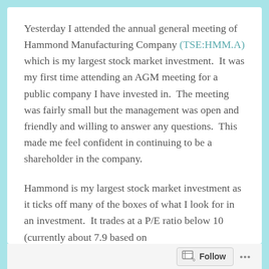Yesterday I attended the annual general meeting of Hammond Manufacturing Company (TSE:HMM.A) which is my largest stock market investment.  It was my first time attending an AGM meeting for a public company I have invested in.  The meeting was fairly small but the management was open and friendly and willing to answer any questions.  This made me feel confident in continuing to be a shareholder in the company.
Hammond is my largest stock market investment as it ticks off many of the boxes of what I look for in an investment.  It trades at a P/E ratio below 10 (currently about 7.9 based on
Follow ...